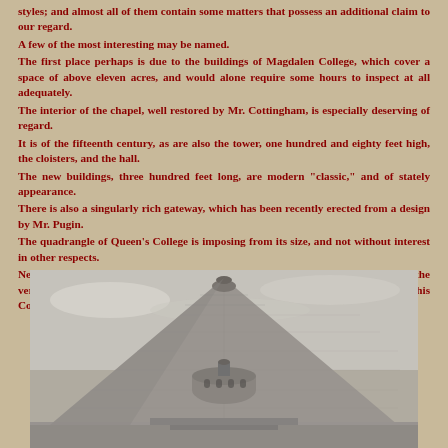styles; and almost all of them contain some matters that possess an additional claim to our regard.
A few of the most interesting may be named.
The first place perhaps is due to the buildings of Magdalen College, which cover a space of above eleven acres, and would alone require some hours to inspect at all adequately.
The interior of the chapel, well restored by Mr. Cottingham, is especially deserving of regard.
It is of the fifteenth century, as are also the tower, one hundred and eighty feet high, the cloisters, and the hall.
The new buildings, three hundred feet long, are modern "classic," and of stately appearance.
There is also a singularly rich gateway, which has been recently erected from a design by Mr. Pugin.
The quadrangle of Queen's College is imposing from its size, and not without interest in other respects.
New College should be noticed for its chapel, the noblest in Oxford; as should also the very beautiful chapel of Merton College ; and there are some ancient portions of this College of a very fine character.
[Figure (illustration): A black and white engraving of a large domed building, likely a library or college building at Oxford, showing stone architecture with a prominent dome and smaller domed lantern on top, set against a cloudy sky.]